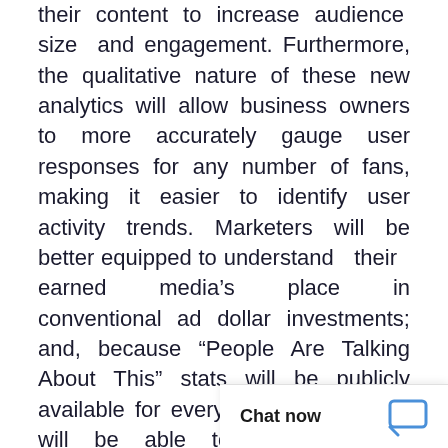their content to increase audience size and engagement. Furthermore, the qualitative nature of these new analytics will allow business owners to more accurately gauge user responses for any number of fans, making it easier to identify user activity trends. Marketers will be better equipped to understand their earned media's place in conventional ad dollar investments; and, because “People Are Talking About This” stats will be publicly available for every page, businesses will be able to compare their strategies with those of competitors.One of the reasons Facebook is introducing new analytics is to offset the consistently low click-through rates for social media advertising ( have a much hig